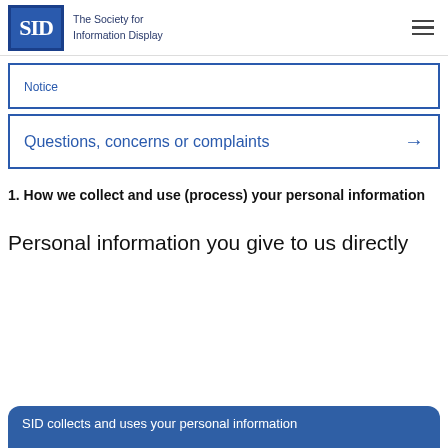SID — The Society for Information Display
Notice
Questions, concerns or complaints →
1. How we collect and use (process) your personal information
Personal information you give to us directly
SID collects and uses your personal information